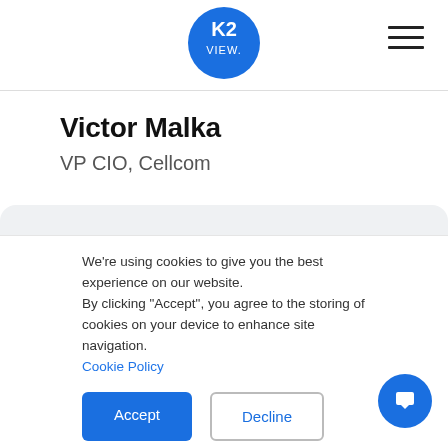[Figure (logo): K2 View blue circle logo with white text 'K2 VIEW.']
Victor Malka
VP CIO, Cellcom
We're using cookies to give you the best experience on our website.
By clicking "Accept", you agree to the storing of cookies on your device to enhance site navigation.
Cookie Policy
Accept
Decline